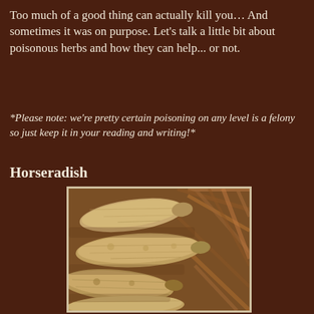Too much of a good thing can actually kill you… And sometimes it was on purpose. Let's talk a little bit about poisonous herbs and how they can help... or not.
*Please note: we're pretty certain poisoning on any level is a felony so just keep it in your reading and writing!*
Horseradish
[Figure (photo): Photograph of horseradish roots — several pale tan/beige long root vegetables with knobby texture lying in a wicker basket]